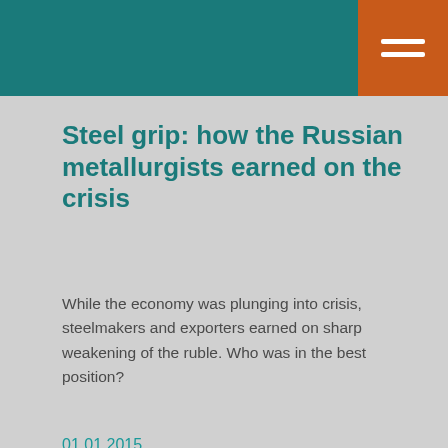Steel grip: how the Russian metallurgists earned on the crisis
While the economy was plunging into crisis, steelmakers and exporters earned on sharp weakening of the ruble. Who was in the best position?
01.01.2015
Forbes
Origin source